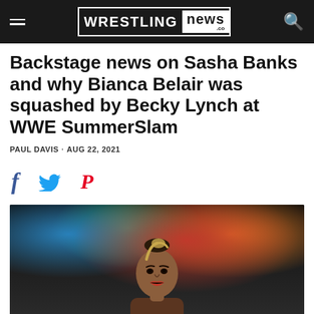WRESTLING NEWS .co
Backstage news on Sasha Banks and why Bianca Belair was squashed by Becky Lynch at WWE SummerSlam
PAUL DAVIS · AUG 22, 2021
[Figure (other): Social share icons: Facebook, Twitter, Pinterest]
[Figure (photo): Photo of Bianca Belair with braided hair up, wearing red lipstick, looking upward, with blurred colorful arena lights in background]